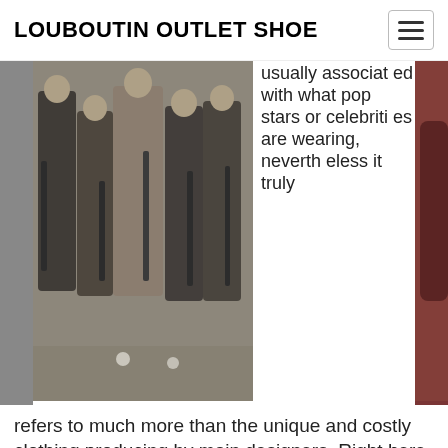LOUBOUTIN OUTLET SHOE
[Figure (photo): Black and white vintage photo of a group of women in long Victorian-era dresses holding walking sticks or golf clubs, with two balls on the ground in front of them.]
usually associated with what pop stars or celebrities are wearing, nevertheless it truly refers to much more than the unique and costly clothing producing by main designers. Right here, we are going to supply some advice on the sorts of attire
[Figure (photo): Partial view of a person with dark/red toned background on the right side of the page.]